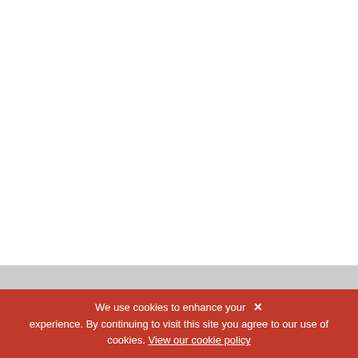We use cookies to enhance your experience. By continuing to visit this site you agree to our use of cookies. View our cookie policy